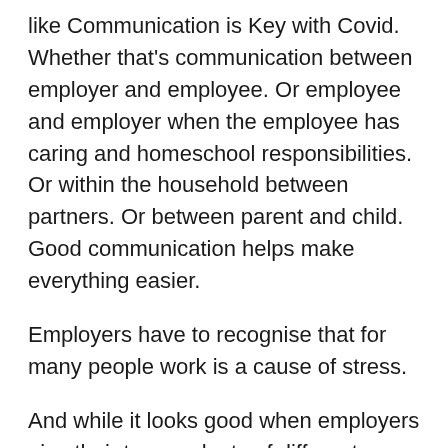like Communication is Key with Covid. Whether that's communication between employer and employee. Or employee and employer when the employee has caring and homeschool responsibilities. Or within the household between partners. Or between parent and child. Good communication helps make everything easier.
Employers have to recognise that for many people work is a cause of stress.
And while it looks good when employers give their teams plenty of different channels through which they can communicate that needs to come with a hefty message that they don't need to use ALL the channels or that too can cause stress if employees feel they must respond to emails, WhatsApp groups, Slack chats and all the rest.